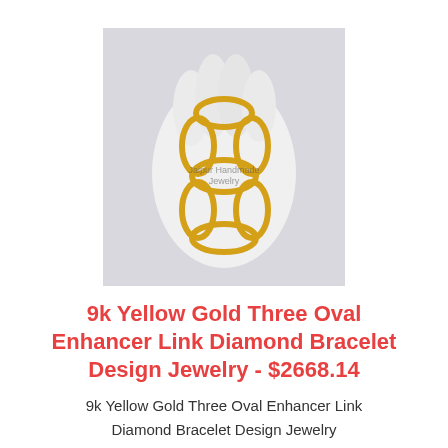[Figure (photo): A gold chain link bracelet (9k Yellow Gold Three Oval Enhancer Link Diamond Bracelet Design Jewelry) held in a white-gloved hand against a light gray background. Watermark text 'Jaipur Handmade Jewelry' visible in the center.]
9k Yellow Gold Three Oval Enhancer Link Diamond Bracelet Design Jewelry - $2668.14
9k Yellow Gold Three Oval Enhancer Link Diamond Bracelet Design Jewelry